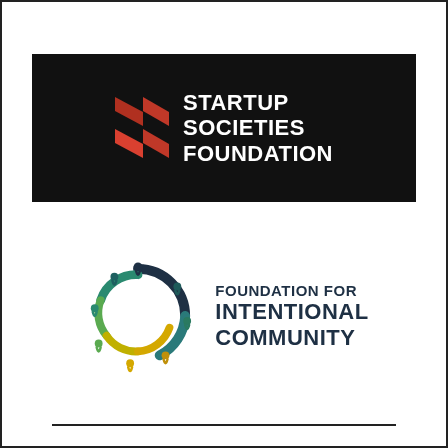[Figure (logo): Startup Societies Foundation logo: red angular double-chevron arrow icon on black background with white bold text STARTUP SOCIETIES FOUNDATION]
[Figure (logo): Foundation for Intentional Community logo: multicolored spiral of figures (teal, green, yellow, black) with dark navy text FOUNDATION FOR INTENTIONAL COMMUNITY]